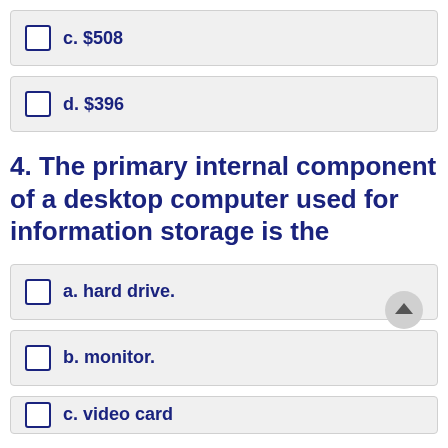c. $508
d. $396
4. The primary internal component of a desktop computer used for information storage is the
a. hard drive.
b. monitor.
c. video card